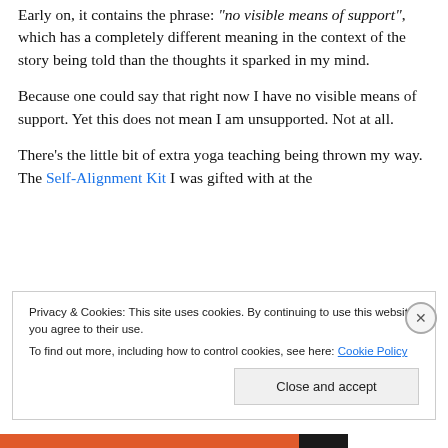Early on, it contains the phrase: “no visible means of support”, which has a completely different meaning in the context of the story being told than the thoughts it sparked in my mind.
Because one could say that right now I have no visible means of support. Yet this does not mean I am unsupported. Not at all.
There’s the little bit of extra yoga teaching being thrown my way. The Self-Alignment Kit I was gifted with at the
Privacy & Cookies: This site uses cookies. By continuing to use this website, you agree to their use.
To find out more, including how to control cookies, see here: Cookie Policy